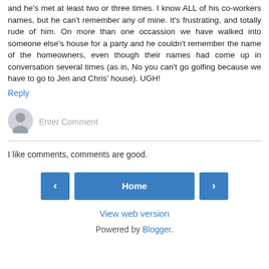and he's met at least two or three times. I know ALL of his co-workers names, but he can't remember any of mine. It's frustrating, and totally rude of him. On more than one occassion we have walked into someone else's house for a party and he couldn't remember the name of the homeowners, even though their names had come up in conversation several times (as in, No you can't go golfing because we have to go to Jen and Chris' house). UGH!
Reply
[Figure (illustration): User avatar icon — a grey silhouette of a person on a light grey circular background]
Enter Comment
I like comments, comments are good.
‹
Home
›
View web version
Powered by Blogger.